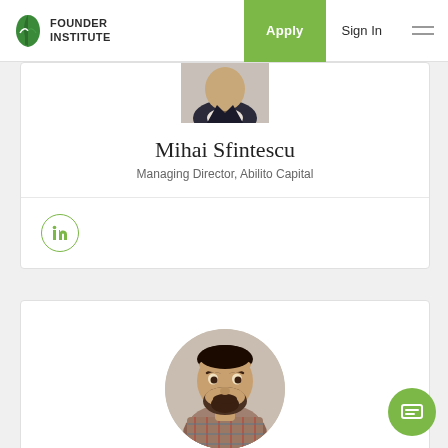Founder Institute — Apply | Sign In
[Figure (photo): Partial circular profile photo of Mihai Sfintescu, showing upper body in suit]
Mihai Sfintescu
Managing Director, Abilito Capital
[Figure (logo): LinkedIn icon button (green circle outline with 'in' logo)]
[Figure (photo): Circular profile photo of Mihai Rotaru, man with beard wearing plaid shirt]
Mihai Rotaru